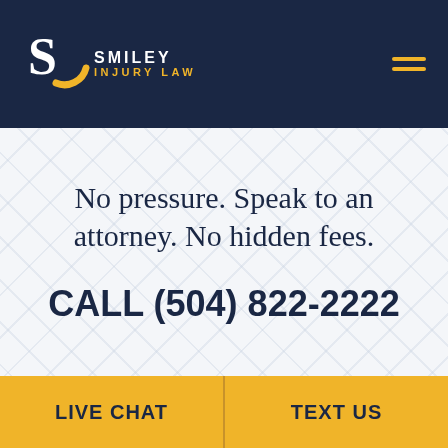Smiley Injury Law
No pressure. Speak to an attorney. No hidden fees.
CALL (504) 822-2222
LIVE CHAT | TEXT US